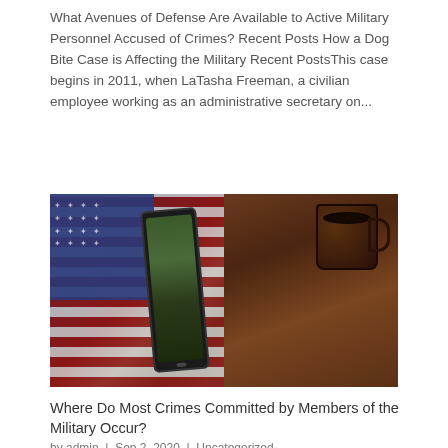What Avenues of Defense Are Available to Active Military Personnel Accused of Crimes? Recent Posts How a Dog Bite Case is Affecting the Military Recent PostsThis case begins in 2011, when LaTasha Freeman, a civilian employee working as an administrative secretary on...
[Figure (photo): Overhead view of an American flag, a smartphone with a military-themed photo on screen, and a dark coffee mug on a wooden table]
Where Do Most Crimes Committed by Members of the Military Occur?
by admin | Sep 2, 2020 | Uncategorized